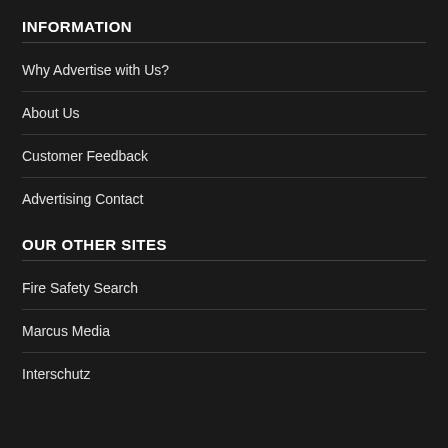INFORMATION
Why Advertise with Us?
About Us
Customer Feedback
Advertising Contact
OUR OTHER SITES
Fire Safety Search
Marcus Media
Interschutz